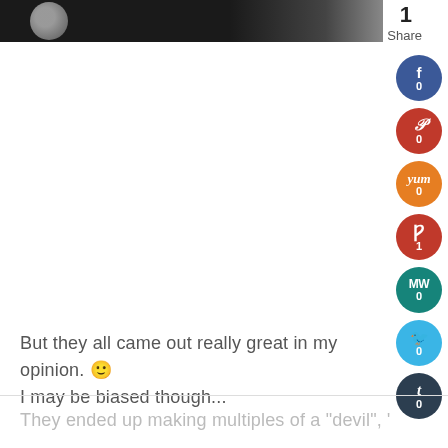[Figure (photo): Top portion of a dark image, partially visible, showing a circular light-colored element on a dark background]
1
Share
[Figure (infographic): Column of social share buttons: Facebook (0), Pinterest (0), Yummly (0), Pocket/P (1), MeWe/MW (0), Twitter (0), Tumblr (0), Print (0)]
But they all came out really great in my opinion. 🙂
I may be biased though...
They ended up making multiples of a "devil", "jack...